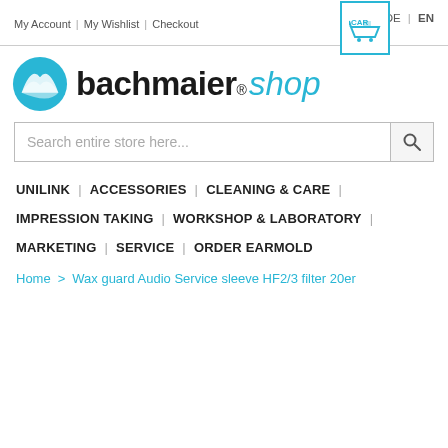My Account | My Wishlist | Checkout | Log In | DE | EN
[Figure (logo): Bachmaier Shop logo with teal circle icon and text 'bachmaier® shop']
Search entire store here...
UNILINK | ACCESSORIES | CLEANING & CARE | IMPRESSION TAKING | WORKSHOP & LABORATORY | MARKETING | SERVICE | ORDER EARMOLD
Home > Wax guard Audio Service sleeve HF2/3 filter 20er